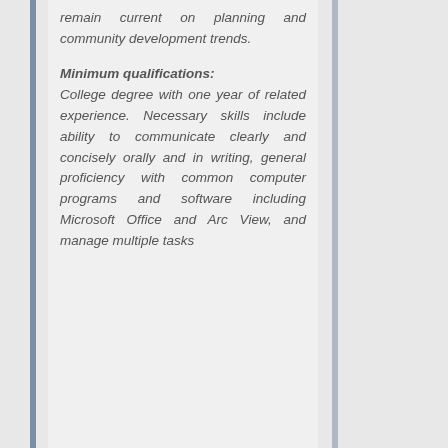remain current on planning and community development trends.
Minimum qualifications: College degree with one year of related experience. Necessary skills include ability to communicate clearly and concisely orally and in writing, general proficiency with common computer programs and software including Microsoft Office and Arc View, and manage multiple tasks